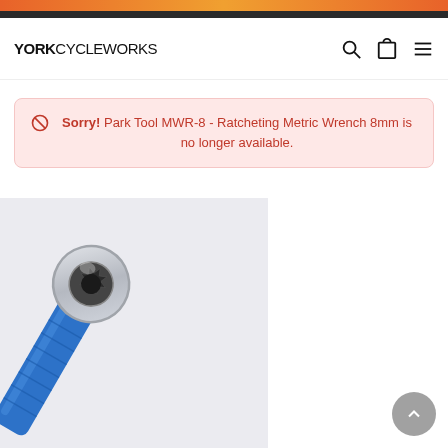YORK CYCLEWORKS
Sorry! Park Tool MWR-8 - Ratcheting Metric Wrench 8mm is no longer available.
[Figure (photo): Close-up photo of a Park Tool MWR-8 Ratcheting Metric Wrench 8mm showing the ratcheting head end with a silver/chrome socket head and a blue handle, on a light grey background.]